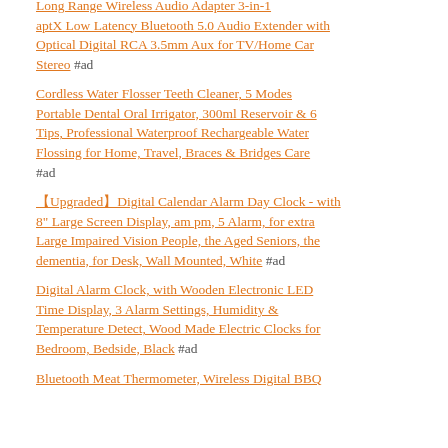Long Range Wireless Audio Adapter 3-in-1 aptX Low Latency Bluetooth 5.0 Audio Extender with Optical Digital RCA 3.5mm Aux for TV/Home Car Stereo #ad
Cordless Water Flosser Teeth Cleaner, 5 Modes Portable Dental Oral Irrigator, 300ml Reservoir & 6 Tips, Professional Waterproof Rechargeable Water Flossing for Home, Travel, Braces & Bridges Care #ad
【Upgraded】Digital Calendar Alarm Day Clock - with 8" Large Screen Display, am pm, 5 Alarm, for extra Large Impaired Vision People, the Aged Seniors, the dementia, for Desk, Wall Mounted, White #ad
Digital Alarm Clock, with Wooden Electronic LED Time Display, 3 Alarm Settings, Humidity & Temperature Detect, Wood Made Electric Clocks for Bedroom, Bedside, Black #ad
Bluetooth Meat Thermometer, Wireless Digital BBQ